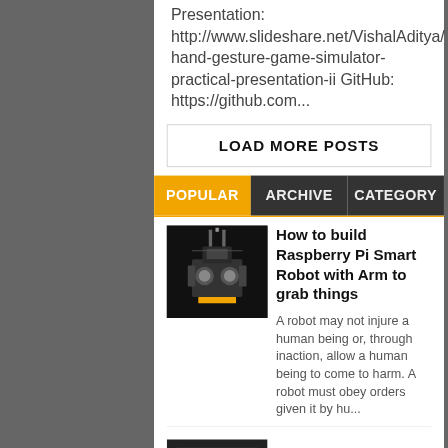Presentation: http://www.slideshare.net/VishalAditya/hand-gesture-game-simulator-practical-presentation-ii GitHub: https://github.com...
LOAD MORE POSTS
POPULAR | ARCHIVE | CATEGORY
[Figure (photo): Thumbnail image of a robot with arm, dark background]
How to build Raspberry Pi Smart Robot with Arm to grab things
A robot may not injure a human being or, through inaction, allow a human being to come to harm. A robot must obey orders given it by hu...
[Figure (photo): Thumbnail of a second post, partially visible at bottom]